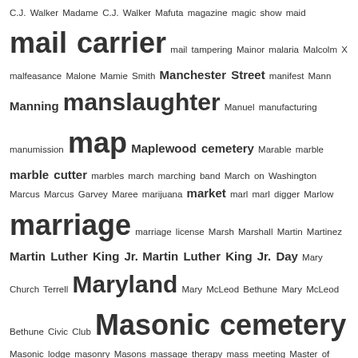C.J. Walker Madame C.J. Walker Mafuta magazine magic show maid mail carrier mail tampering Mainor malaria Malcolm X malfeasance Malone Mamie Smith Manchester Street manifest Mann Manning manslaughter Manuel manufacturing manumission map Maplewood cemetery Marable marble marble cutter marbles march marching band March on Washington Marcus Marcus Garvey Maree marijuana market marl marl digger Marlow marriage marriage license Marsh Marshall Martin Martinez Martin Luther King Jr. Martin Luther King Jr. Day Mary Church Terrell Maryland Mary McLeod Bethune Mary McLeod Bethune Civic Club Masonic cemetery Masonic lodge masonry Masons massage therapy mass meeting Master of Public Health Mateo Ruiz Gonzalez mathematician mathematics Mathis Matthews mattock Mattocks Maultsby Maury Street May Mayo mayor mayor's court McAllister McBrayer McCadden McCall McClain McCollum McCowan McCoy McCullen McCullers McCullins McDaniel McDonald McDuffie McGirt McGiven McGowan McGrew McKeel McKeever McKeithan McKoy McLean McMannin McMillan McMillian McNair McNeal McNeil McNeill McPhail McPhatter McQueen measles meat market Mehane mechanic